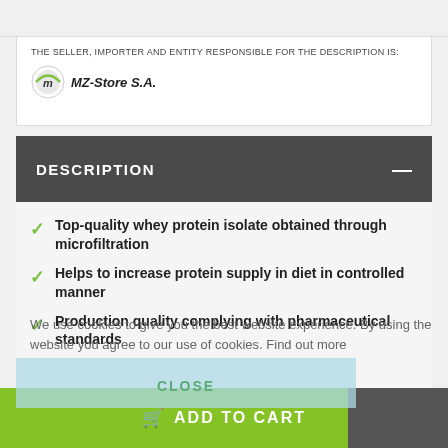THE SELLER, IMPORTER AND ENTITY RESPONSIBLE FOR THE DESCRIPTION IS:
[Figure (logo): MZ-Store S.A. logo with circular emblem and italic bold text]
DESCRIPTION
Top-quality whey protein isolate obtained through microfiltration
Helps to increase protein supply in diet in controlled manner
Production quality complying with pharmaceutical standards
We use cookies to give you the best website experience. By using the website you agree to our use of cookies. Find out more
CLOSE
ADD TO CART